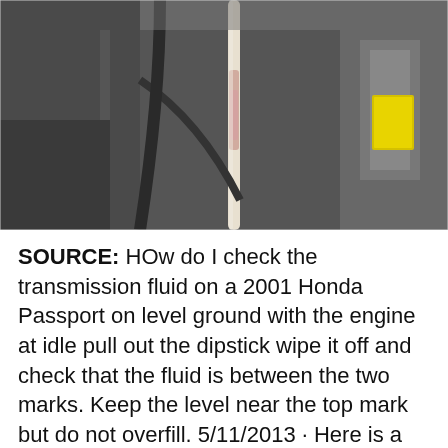[Figure (photo): Close-up photo of a transmission fluid dipstick being held up in a car engine bay. The dipstick is transparent/white with pinkish fluid marks on it. In the background there is engine bay components including a yellow-capped reservoir and a yellow sticker label visible.]
SOURCE: HOw do I check the transmission fluid on a 2001 Honda Passport on level ground with the engine at idle pull out the dipstick wipe it off and check that the fluid is between the two marks. Keep the level near the top mark but do not overfill. 5/11/2013 · Here is a quick video on how and where to look to check fluid levels on a Honda